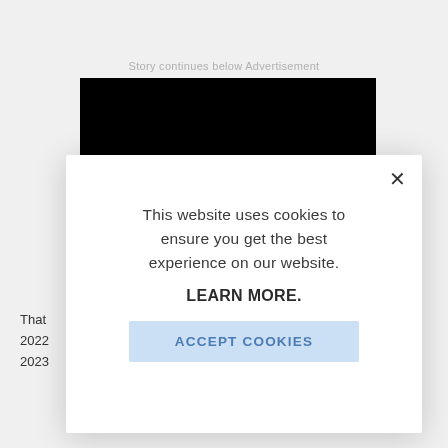Story continues below Advertisement
[Figure (other): Black advertisement placeholder banner]
That
2022
2023
This website uses cookies to ensure you get the best experience on our website.

LEARN MORE.

ACCEPT COOKIES